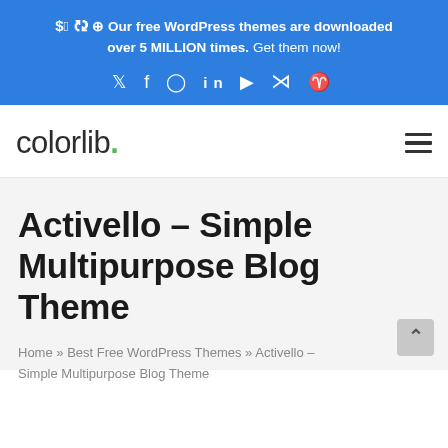Our free WordPress themes are downloaded over 5 MILLION times. Get them now!
[Figure (logo): colorlib. logo with green dot]
Activello – Simple Multipurpose Blog Theme
Home » Best Free WordPress Themes » Activello – Simple Multipurpose Blog Theme